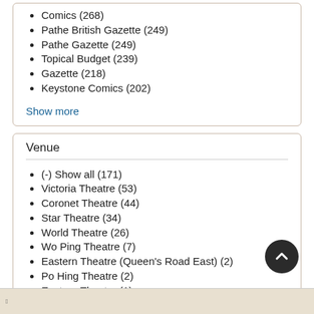Comics (268)
Pathe British Gazette (249)
Pathe Gazette (249)
Topical Budget (239)
Gazette (218)
Keystone Comics (202)
Show more
Venue
(-) Show all (171)
Victoria Theatre (53)
Coronet Theatre (44)
Star Theatre (34)
World Theatre (26)
Wo Ping Theatre (7)
Eastern Theatre (Queen's Road East) (2)
Po Hing Theatre (2)
Eastern Theatre (1)
Wanchai (1)
Show more
[Figure (screenshot): Bottom strip with small text/logos]